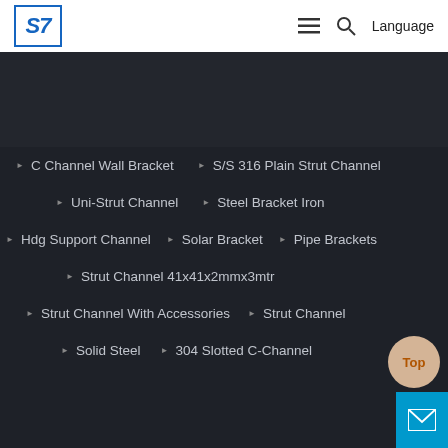S7 Logo | Navigation: hamburger menu, search, Language
C Channel Wall Bracket
S/S 316 Plain Strut Channel
Uni-Strut Channel
Steel Bracket Iron
Hdg Support Channel
Solar Bracket
Pipe Brackets
Strut Channel 41x41x2mmx3mtr
Strut Channel With Accessories
Strut Channel
Solid Steel
304 Slotted C-Channel